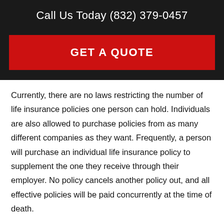Call Us Today (832) 379-0457
GET A QUOTE
Currently, there are no laws restricting the number of life insurance policies one person can hold. Individuals are also allowed to purchase policies from as many different companies as they want. Frequently, a person will purchase an individual life insurance policy to supplement the one they receive through their employer. No policy cancels another policy out, and all effective policies will be paid concurrently at the time of death.